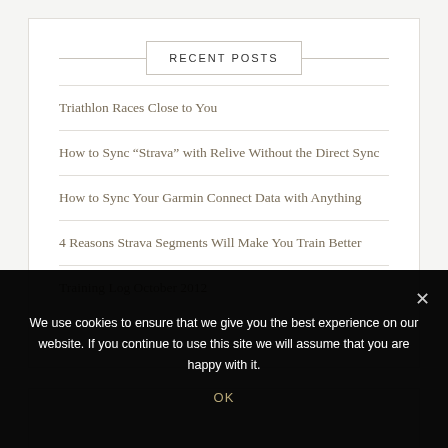RECENT POSTS
Triathlon Races Close to You
How to Sync “Strava” with Relive Without the Direct Sync
How to Sync Your Garmin Connect Data with Anything
4 Reasons Strava Segments Will Make You Train Better
Training Log October 2012
We use cookies to ensure that we give you the best experience on our website. If you continue to use this site we will assume that you are happy with it.
OK